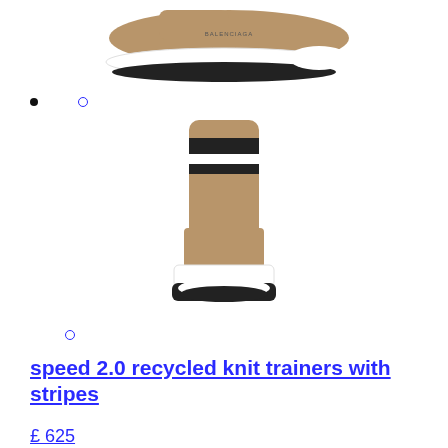[Figure (photo): Side view of a Balenciaga Speed 2.0 recycled knit trainer in tan/beige color with white and black sole, shown from the side angle]
[Figure (other): Two navigation dots - one filled black and one outlined in blue]
[Figure (photo): Front/back view of a Balenciaga Speed 2.0 recycled knit trainer in tan/beige color with black stripe detail at the top, white midsole and black outsole]
[Figure (other): One outlined blue navigation dot]
speed 2.0 recycled knit trainers with stripes
£ 625